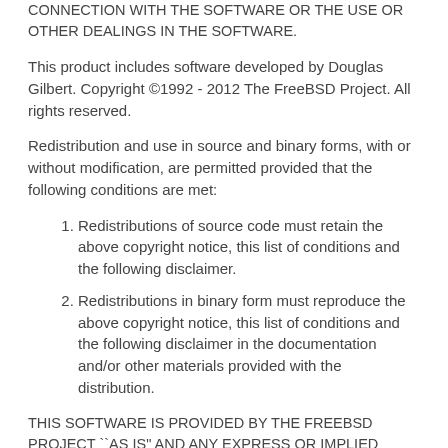CONNECTION WITH THE SOFTWARE OR THE USE OR OTHER DEALINGS IN THE SOFTWARE.
This product includes software developed by Douglas Gilbert. Copyright ©1992 - 2012 The FreeBSD Project. All rights reserved.
Redistribution and use in source and binary forms, with or without modification, are permitted provided that the following conditions are met:
Redistributions of source code must retain the above copyright notice, this list of conditions and the following disclaimer.
Redistributions in binary form must reproduce the above copyright notice, this list of conditions and the following disclaimer in the documentation and/or other materials provided with the distribution.
THIS SOFTWARE IS PROVIDED BY THE FREEBSD PROJECT ``AS IS" AND ANY EXPRESS OR IMPLIED WARRANTIES, INCLUDING, BUT NOT LIMITED TO, THE IMPLIED WARRANTIES OF MERCHANTABILITY AND